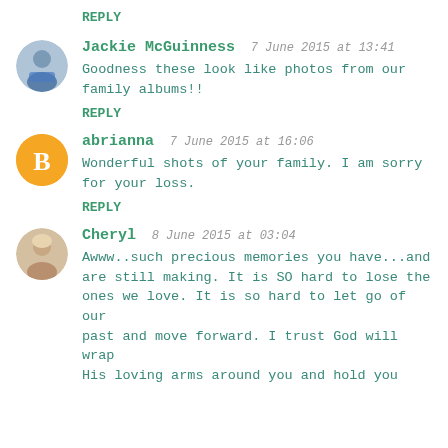REPLY
[Figure (photo): Avatar photo of Jackie McGuinness, a person wearing a blue top]
Jackie McGuinness  7 June 2015 at 13:41
Goodness these look like photos from our family albums!!
REPLY
[Figure (logo): Blogger default avatar: orange circle with white B]
abrianna  7 June 2015 at 16:06
Wonderful shots of your family. I am sorry for your loss.
REPLY
[Figure (photo): Avatar photo of Cheryl, a woman with light hair]
Cheryl  8 June 2015 at 03:04
Awww..such precious memories you have...and are still making. It is SO hard to lose the ones we love. It is so hard to let go of our past and move forward. I trust God will wrap His loving arms around you and hold you